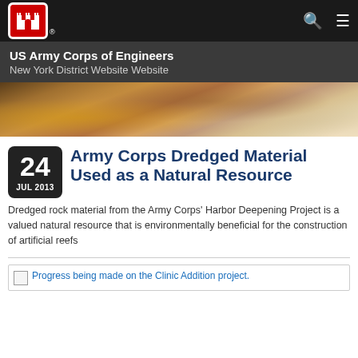US Army Corps of Engineers New York District Website Website
[Figure (photo): Hero image showing dredged rock material - textured rocks and earth tones]
Army Corps Dredged Material Used as a Natural Resource
Dredged rock material from the Army Corps' Harbor Deepening Project is a valued natural resource that is environmentally beneficial for the construction of artificial reefs
Progress being made on the Clinic Addition project.